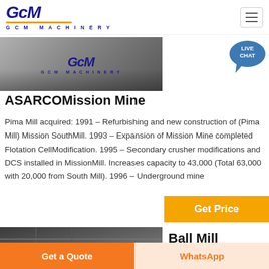[Figure (logo): GCM Machinery logo with italic blue lettering and orange underline]
[Figure (photo): GCM Machinery product/site image showing machinery with GCM Machinery branding]
ASARCOMission Mine
Pima Mill acquired: 1991 – Refurbishing and new construction of (Pima Mill) Mission SouthMill. 1993 – Expansion of Mission Mine completed Flotation CellModification. 1995 – Secondary crusher modifications and DCS installed in MissionMill. Increases capacity to 43,000 (Total 63,000 with 20,000 from South Mill). 1996 – Underground mine
Get Price
[Figure (photo): Second product image showing industrial/mining machinery]
Ball Mill
Get a Quote
WhatsApp